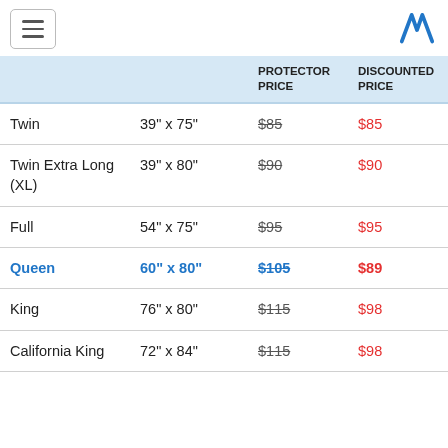Navigation menu and logo
|  |  | PROTECTOR PRICE | DISCOUNTED PRICE |
| --- | --- | --- | --- |
| Twin | 39" x 75" | $85 | $85 |
| Twin Extra Long (XL) | 39" x 80" | $90 | $90 |
| Full | 54" x 75" | $95 | $95 |
| Queen | 60" x 80" | $105 | $89 |
| King | 76" x 80" | $115 | $98 |
| California King | 72" x 84" | $115 | $98 |